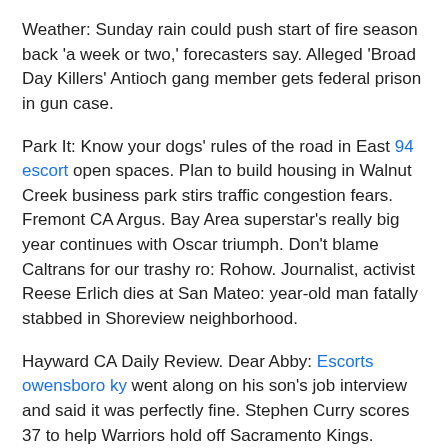Weather: Sunday rain could push start of fire season back 'a week or two,' forecasters say. Alleged 'Broad Day Killers' Antioch gang member gets federal prison in gun case.
Park It: Know your dogs' rules of the road in East 94 escort open spaces. Plan to build housing in Walnut Creek business park stirs traffic congestion fears. Fremont CA Argus. Bay Area superstar's really big year continues with Oscar triumph. Don't blame Caltrans for our trashy ro: Rohow. Journalist, activist Reese Erlich dies at San Mateo: year-old man fatally stabbed in Shoreview neighborhood.
Hayward CA Daily Review. Dear Abby: Escorts owensboro ky went along on his son's job interview and said it was perfectly fine. Stephen Curry scores 37 to help Warriors hold off Sacramento Kings. Oscars Latest: Anthony Hopkins wins best actor in a surprise.
Hot Oscars couple!